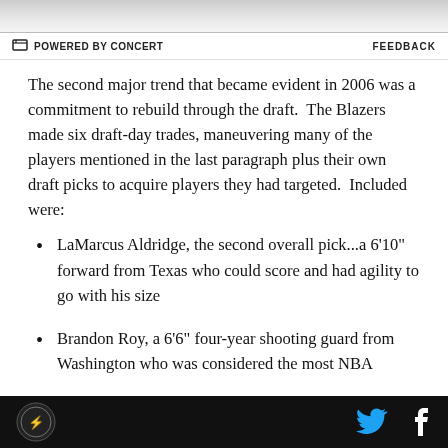[Figure (photo): Partial image at top of page, appears to be a sports or news article banner image]
POWERED BY CONCERT   FEEDBACK
The second major trend that became evident in 2006 was a commitment to rebuild through the draft.  The Blazers made six draft-day trades, maneuvering many of the players mentioned in the last paragraph plus their own draft picks to acquire players they had targeted.  Included were:
LaMarcus Aldridge, the second overall pick...a 6'10" forward from Texas who could score and had agility to go with his size
Brandon Roy, a 6'6" four-year shooting guard from Washington who was considered the most NBA